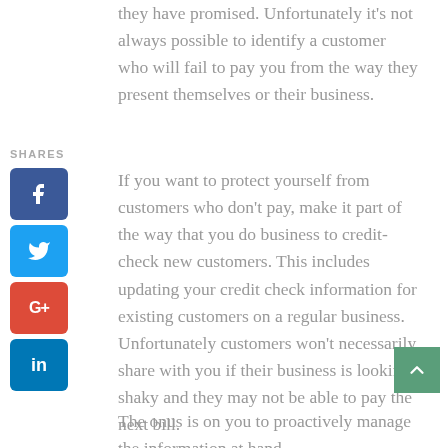they have promised. Unfortunately it's not always possible to identify a customer who will fail to pay you from the way they present themselves or their business.
SHARES
[Figure (other): Social share buttons: Facebook (blue), Twitter (light blue), Google+ (red), LinkedIn (blue)]
If you want to protect yourself from customers who don't pay, make it part of the way that you do business to credit-check new customers. This includes updating your credit check information for existing customers on a regular business. Unfortunately customers won't necessarily share with you if their business is looking shaky and they may not be able to pay the next bill.
The onus is on you to proactively manage the information at hand